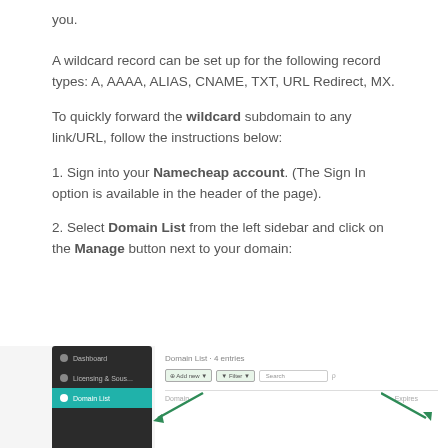you.
A wildcard record can be set up for the following record types: A, AAAA, ALIAS, CNAME, TXT, URL Redirect, MX.
To quickly forward the wildcard subdomain to any link/URL, follow the instructions below:
1. Sign into your Namecheap account. (The Sign In option is available in the header of the page).
2. Select Domain List from the left sidebar and click on the Manage button next to your domain:
[Figure (screenshot): Screenshot of Namecheap account interface showing the Domain List sidebar and main content area with filter buttons and table headers. Green arrows point to Domain List in sidebar and Manage button area.]